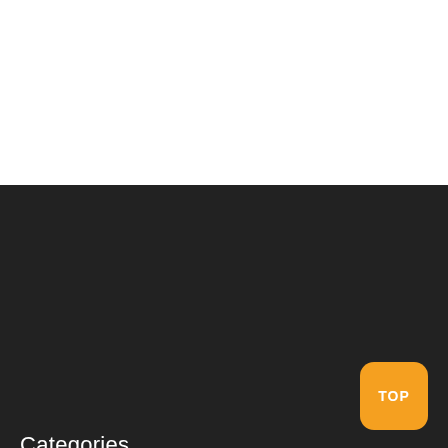Categories
TV & Movies
Celebrities
World News
Fashion
Lifestyle
TOP